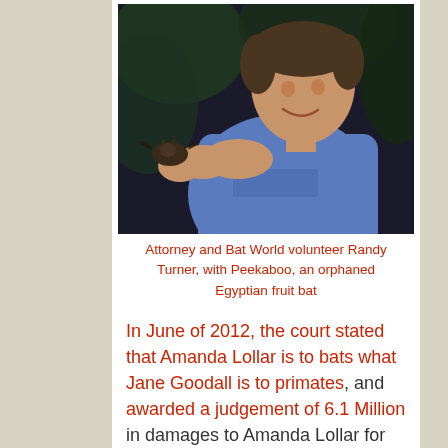[Figure (photo): A man in a blue t-shirt smiling while holding a small bat (Peekaboo, an orphaned Egyptian fruit bat), photographed at night with dark foliage in background.]
Attorney and Bat World volunteer Randy Turner, with Peekaboo, an orphaned Egyptian fruit bat
In June of 2012, the court stated that Amanda Lollar is to bats what Jane Goodall is to primates, and awarded a judgement of 6.1 Million in damages to Amanda Lollar for Cummins “egregious as well as malicious as well as